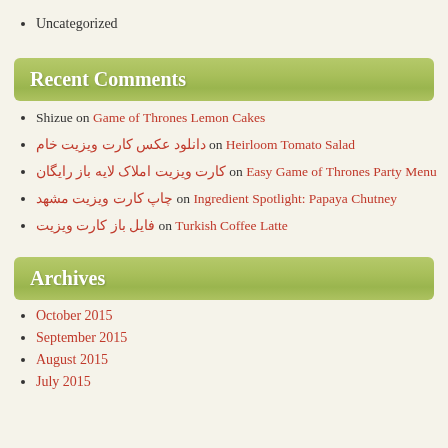Uncategorized
Recent Comments
Shizue on Game of Thrones Lemon Cakes
دانلود عکس کارت ویزیت خام on Heirloom Tomato Salad
کارت ویزیت املاک لایه باز رایگان on Easy Game of Thrones Party Menu
چاپ کارت ویزیت مشهد on Ingredient Spotlight: Papaya Chutney
فایل باز کارت ویزیت on Turkish Coffee Latte
Archives
October 2015
September 2015
August 2015
July 2015